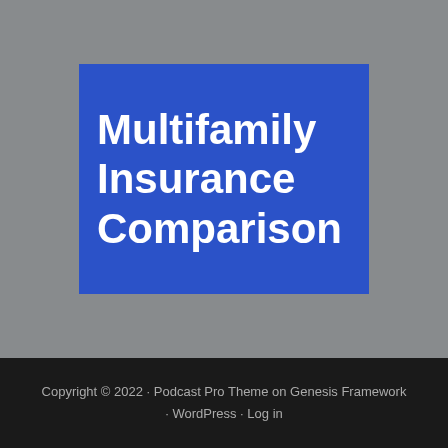[Figure (logo): Blue rectangle with white bold text reading 'Multifamily Insurance Comparison' on a gray background]
Copyright © 2022 · Podcast Pro Theme on Genesis Framework · WordPress · Log in